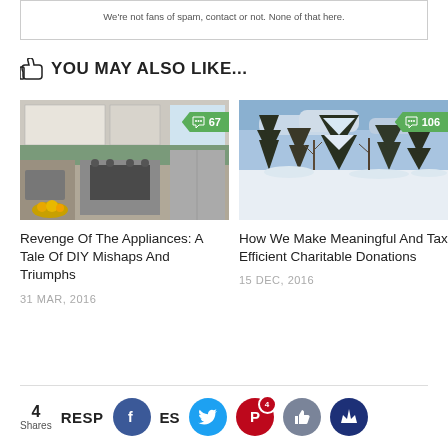We're not fans of spam, contact or not. None of that here.
YOU MAY ALSO LIKE...
[Figure (photo): Kitchen interior with stove, refrigerator and green tile backsplash]
67
Revenge Of The Appliances: A Tale Of DIY Mishaps And Triumphs
31 MAR, 2016
[Figure (photo): Winter landscape with snow-covered trees and blue sky]
106
How We Make Meaningful And Tax Efficient Charitable Donations
15 DEC, 2016
4 Shares RESPONSES